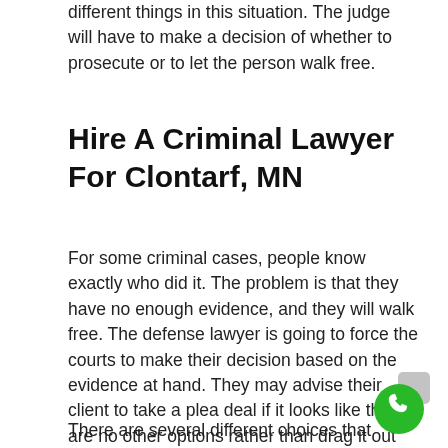different things in this situation. The judge will have to make a decision of whether to prosecute or to let the person walk free.
Hire A Criminal Lawyer For Clontarf, MN
For some criminal cases, people know exactly who did it. The problem is that they have no enough evidence, and they will walk free. The defense lawyer is going to force the courts to make their decision based on the evidence at hand. They may advise their client to take a plea deal if it looks like there are no other options rather than drag it out and make it even more expensive.
There are several different choices that everyone